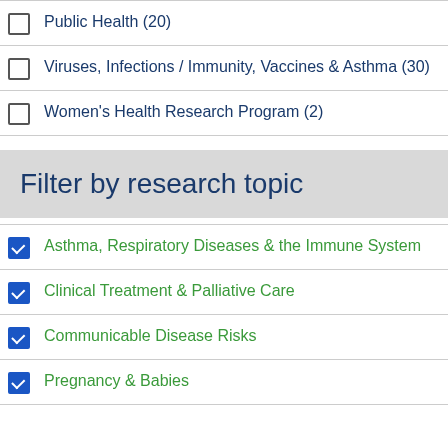Public Health (20)
Viruses, Infections / Immunity, Vaccines & Asthma (30)
Women's Health Research Program (2)
Filter by research topic
Asthma, Respiratory Diseases & the Immune System
Clinical Treatment & Palliative Care
Communicable Disease Risks
Pregnancy & Babies